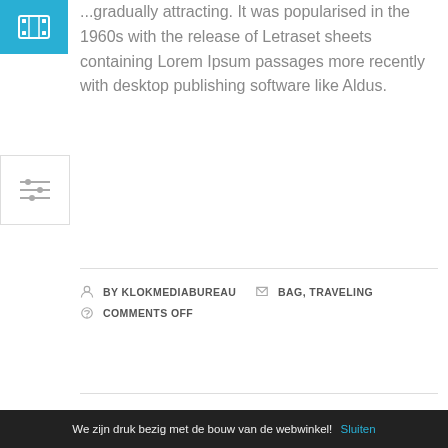[Figure (illustration): Blue film/video icon with film strip graphic on cyan blue background]
...gradually attracting. It was popularised in the 1960s with the release of Letraset sheets containing Lorem Ipsum passages more recently with desktop publishing software like Aldus.
[Figure (illustration): Filter/settings sliders icon inside a bordered box]
BY KLOKMEDIABUREAU  BAG, TRAVELING  COMMENTS OFF
READ MORE...
[Figure (photo): Photo of a young woman with sunglasses and blonde hair, partially visible, cropped at bottom of page]
We zijn druk bezig met de bouw van de webwinkel! Sluiten